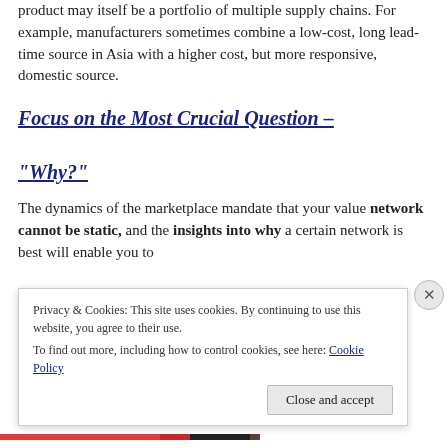product may itself be a portfolio of multiple supply chains. For example, manufacturers sometimes combine a low-cost, long lead-time source in Asia with a higher cost, but more responsive, domestic source.
Focus on the Most Crucial Question – "Why?"
The dynamics of the marketplace mandate that your value network cannot be static, and the insights into why a certain network is best will enable you to
Privacy & Cookies: This site uses cookies. By continuing to use this website, you agree to their use.
To find out more, including how to control cookies, see here: Cookie Policy